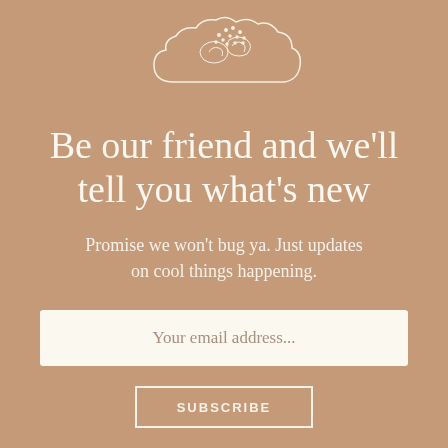[Figure (illustration): Decorative cloud illustration with swirling details, drawn in outline style with cream/white color on brown background]
Be our friend and we'll tell you what's new
Promise we won't bug ya. Just updates on cool things happening.
Your email address...
SUBSCRIBE